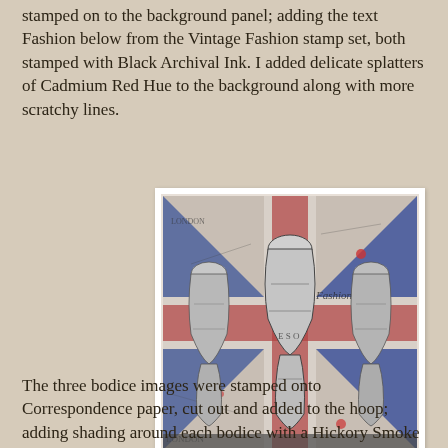stamped on to the background panel; adding the text Fashion below from the Vintage Fashion stamp set, both stamped with Black Archival Ink. I added delicate splatters of Cadmium Red Hue to the background along with more scratchy lines.
[Figure (photo): Close-up photo of a craft/scrapbooking project showing three metal bodice/corset dress form embellishments on a patterned background paper featuring a Union Jack (UK flag) design with text stamps, red splatters, and scratchy lines in red, blue, and white colors.]
The three bodice images were stamped onto Correspondence paper, cut out and added to the hoop; adding shading around each bodice with a Hickory Smoke